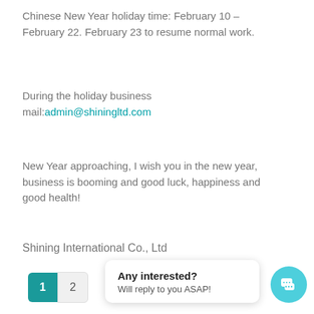Chinese New Year holiday time: February 10 – February 22. February 23 to resume normal work.
During the holiday business mail:admin@shiningltd.com
New Year approaching, I wish you in the new year, business is booming and good luck, happiness and good health!
Shining International Co., Ltd
[Figure (screenshot): Website pagination showing page 1 active (teal) and page 2, with a chat popup 'Any interested? Will reply to you ASAP!' and a teal chat icon button.]